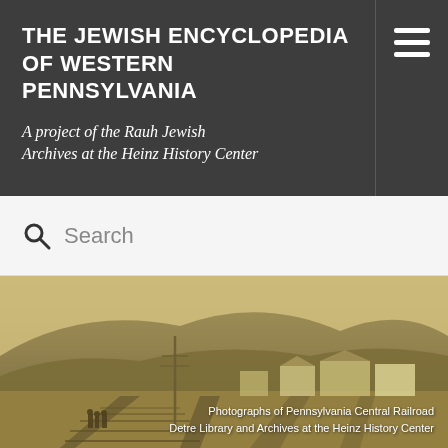THE JEWISH ENCYCLOPEDIA OF WESTERN PENNSYLVANIA
A project of the Rauh Jewish Archives at the Heinz History Center
Search
[Figure (photo): Sepia-toned historical photograph showing a railroad town scene with tracks in the foreground, figures standing near the tracks, buildings and a forested hillside in the background.]
Photographs of Pennsylvania Central Railroad
Detre Library and Archives at the Heinz History Center